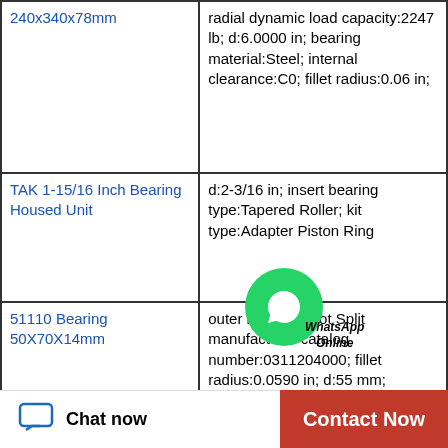| Product | Specifications |
| --- | --- |
| 240x340x78mm | radial dynamic load capacity:2247 lb; d:6.0000 in; bearing material:Steel; internal clearance:C0; fillet radius:0.06 in; |
| TAK 1-15/16 Inch Bearing Housed Unit | d:2-3/16 in; insert bearing type:Tapered Roller; kit type:Adapter Piston Ring... |
| 51110 Bearing 50X70X14mm | outer ring type:Not Split manufacturer catalog number:0311204000; fillet radius:0.0590 in; d:55 mm; closure type:Open; dynamic load capacity:23000 lbs; precision rating:Not Rated; |
[Figure (other): WhatsApp Online chat overlay button with green circle and phone handset icon, with text 'WhatsApp Online']
Chat now | Contact Now